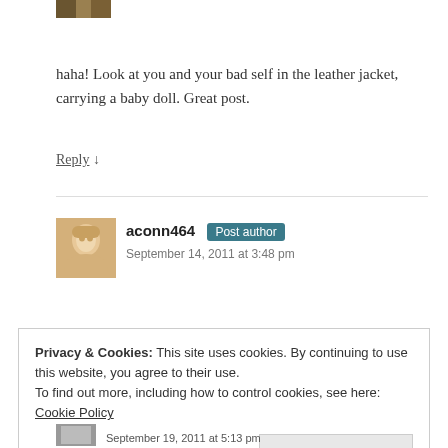[Figure (photo): Partial avatar image at top of page]
haha! Look at you and your bad self in the leather jacket, carrying a baby doll. Great post.
Reply ↓
[Figure (photo): Avatar photo of aconn464 - woman with blonde hair]
aconn464 Post author
September 14, 2011 at 3:48 pm
Privacy & Cookies: This site uses cookies. By continuing to use this website, you agree to their use.
To find out more, including how to control cookies, see here: Cookie Policy
Close and accept
[Figure (photo): Partial avatar at bottom]
September 19, 2011 at 5:13 pm